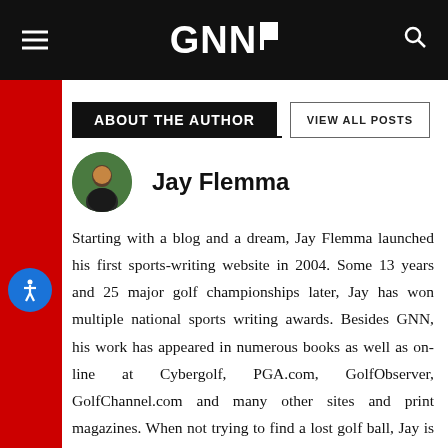GNN
ABOUT THE AUTHOR
Jay Flemma
[Figure (photo): Circular headshot photo of Jay Flemma outdoors]
Starting with a blog and a dream, Jay Flemma launched his first sports-writing website in 2004. Some 13 years and 25 major golf championships later, Jay has won multiple national sports writing awards. Besides GNN, his work has appeared in numerous books as well as on-line at Cybergolf, PGA.com, GolfObserver, GolfChannel.com and many other sites and print magazines. When not trying to find a lost golf ball, Jay is an